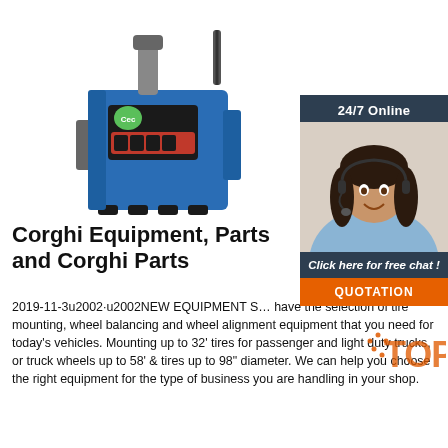[Figure (photo): Blue Corghi tire changing/mounting machine equipment on white background]
[Figure (photo): Customer service agent woman with headset smiling, with 24/7 Online header, Click here for free chat text, and QUOTATION orange button]
Corghi Equipment, Parts and Corghi Parts
2019-11-3u2002·u2002NEW EQUIPMENT S… have the selection of tire mounting, wheel balancing and wheel alignment equipment that you need for today's vehicles. Mounting up to 32' tires for passenger and light duty trucks, or truck wheels up to 58' & tires up to 98" diameter. We can help you choose the right equipment for the type of business you are handling in your shop.